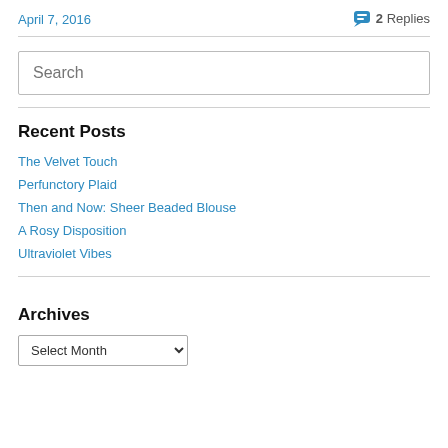April 7, 2016
2 Replies
Search
Recent Posts
The Velvet Touch
Perfunctory Plaid
Then and Now: Sheer Beaded Blouse
A Rosy Disposition
Ultraviolet Vibes
Archives
Select Month